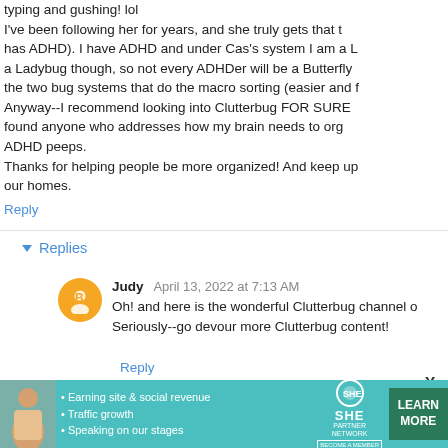typing and gushing! lol
I've been following her for years, and she truly gets that the system has ADHD). I have ADHD and under Cas's system I am a Ladybug though, so not every ADHDer will be a Butterfly the two bug systems that do the macro sorting (easier and Anyway--I recommend looking into Clutterbug FOR SURE found anyone who addresses how my brain needs to org ADHD peeps.
Thanks for helping people be more organized! And keep up our homes.
Reply
Replies
Judy April 13, 2022 at 7:13 AM
Oh! and here is the wonderful Clutterbug channel c Seriously--go devour more Clutterbug content!
Reply
Jutta April 13, 2022 at 7:50 AM
As someone who is "blessed" both with Autism and
[Figure (infographic): SHE Partner Network advertisement banner with photo of woman, bullet points about earning site & social revenue, traffic growth, speaking on our stages, SHE logo, Become a Member text, and Learn More button]